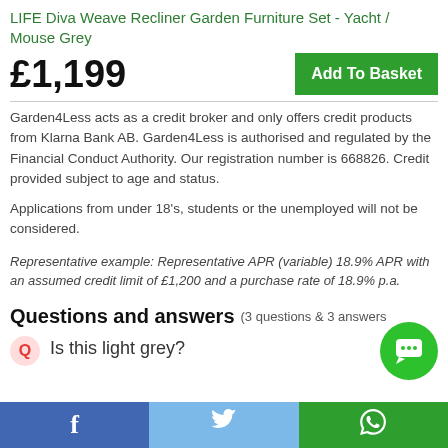LIFE Diva Weave Recliner Garden Furniture Set - Yacht / Mouse Grey
£1,199
Garden4Less acts as a credit broker and only offers credit products from Klarna Bank AB. Garden4Less is authorised and regulated by the Financial Conduct Authority. Our registration number is 668826. Credit provided subject to age and status.
Applications from under 18's, students or the unemployed will not be considered.
Representative example: Representative APR (variable) 18.9% APR with an assumed credit limit of £1,200 and a purchase rate of 18.9% p.a.
Questions and answers (3 questions & 3 answers)
Q  Is this light grey?
f  [twitter bird]  [whatsapp]